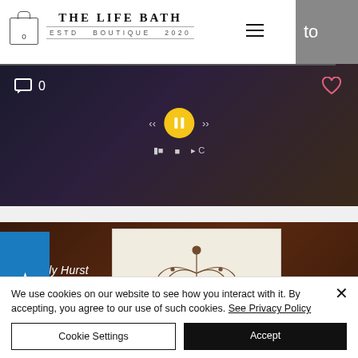[Figure (screenshot): Website header for The Life Bath Boutique (Est. 2020) with shopping bag icon, logo, hamburger menu, and partial 'to' text on dark background]
[Figure (screenshot): Video thumbnail showing media playback controls with pause button in yellow circle, skip/rewind buttons, comment icon with 0, and heart icon]
[Figure (screenshot): Video thumbnail showing a book with decorative illustrated cover art labeled 'Kelly Hurst', with blue star sidebar]
We use cookies on our website to see how you interact with it. By accepting, you agree to our use of such cookies. See Privacy Policy
Cookie Settings
Accept